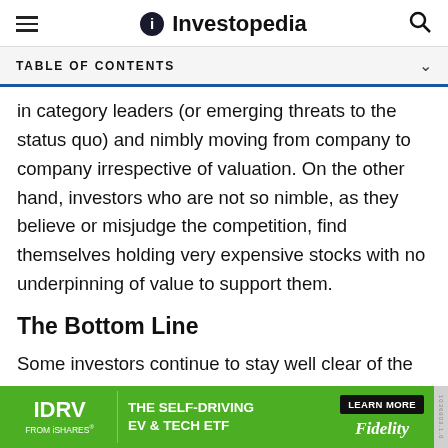Investopedia
TABLE OF CONTENTS
in category leaders (or emerging threats to the status quo) and nimbly moving from company to company irrespective of valuation. On the other hand, investors who are not so nimble, as they believe or misjudge the competition, find themselves holding very expensive stocks with no underpinning of value to support them.
The Bottom Line
Some investors continue to stay well clear of the entire technology space and regard it as impenetrable and irrational. Given the pervasiveness of technology, however, this is a significantly self-limiting view that
[Figure (infographic): Advertisement banner for IDRV from iShares — The Self-Driving EV & Tech ETF. Learn More button. Fidelity logo. Green background.]